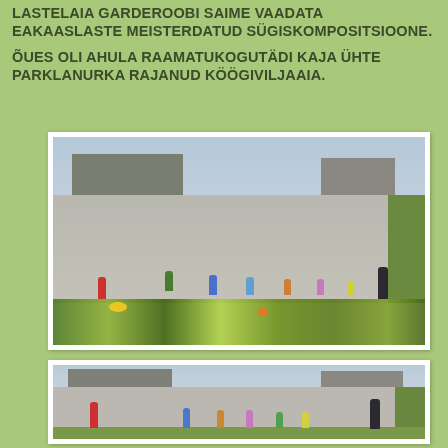LASTELAIA GARDEROOBI SAIME VAADATA EAKAASLASTE MEISTERDATUD SÜGISKOMPOSITSIOONE.

ÕUES OLI AHULA RAAMATUKOGUTÄDI KAJA ÜHTE PARKLANURKA RAJANUD KÖÖGIVILJAAIA.
[Figure (photo): Outdoor photo of children playing in a schoolyard/parking area. Several children in colorful jackets are active in the foreground and middle ground. An adult stands to the right. In the foreground there are vegetables and plants laid out on the ground. Buildings visible in the background.]
[Figure (photo): Outdoor photo of children and an adult standing in a schoolyard/parking area. Similar setting to the first photo. Buildings visible in background, grass to the right.]